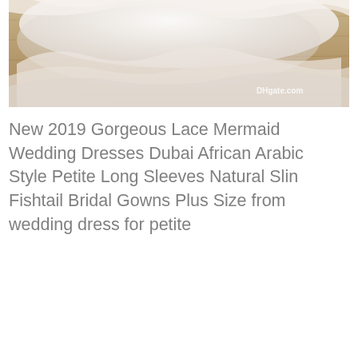[Figure (photo): Close-up photo of a white lace/tulle wedding dress train spread on a wooden floor. A DHgate.com watermark is visible in the lower right of the image.]
New 2019 Gorgeous Lace Mermaid Wedding Dresses Dubai African Arabic Style Petite Long Sleeves Natural Slin Fishtail Bridal Gowns Plus Size from wedding dress for petite